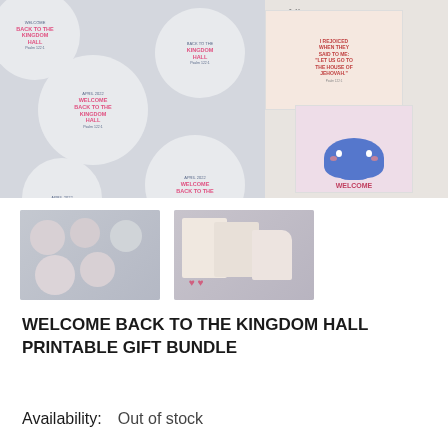[Figure (photo): Product photo showing Welcome Back to the Kingdom Hall printable gift bundle items including round stickers with pink text on circular labels, gift tags with scripture quotes, and a card with a blue cloud character. Items are laid out on a white background. Also shows 'Alla Lily' name label in the top right area.]
[Figure (photo): Thumbnail image 1 showing sticker sheet and tags for the printable bundle]
[Figure (photo): Thumbnail image 2 showing cards and tags for the printable bundle]
WELCOME BACK TO THE KINGDOM HALL PRINTABLE GIFT BUNDLE
Availability:    Out of stock